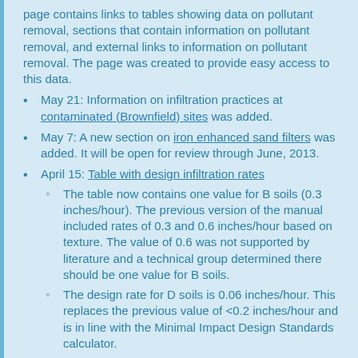page contains links to tables showing data on pollutant removal, sections that contain information on pollutant removal, and external links to information on pollutant removal. The page was created to provide easy access to this data.
May 21: Information on infiltration practices at contaminated (Brownfield) sites was added.
May 7: A new section on iron enhanced sand filters was added. It will be open for review through June, 2013.
April 15: Table with design infiltration rates
The table now contains one value for B soils (0.3 inches/hour). The previous version of the manual included rates of 0.3 and 0.6 inches/hour based on texture. The value of 0.6 was not supported by literature and a technical group determined there should be one value for B soils.
The design rate for D soils is 0.06 inches/hour. This replaces the previous value of <0.2 inches/hour and is in line with the Minimal Impact Design Standards calculator.